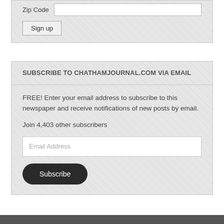Zip Code
Sign up
SUBSCRIBE TO CHATHAMJOURNAL.COM VIA EMAIL
FREE! Enter your email address to subscribe to this newspaper and receive notifications of new posts by email.
Join 4,403 other subscribers
Email Address
Subscribe